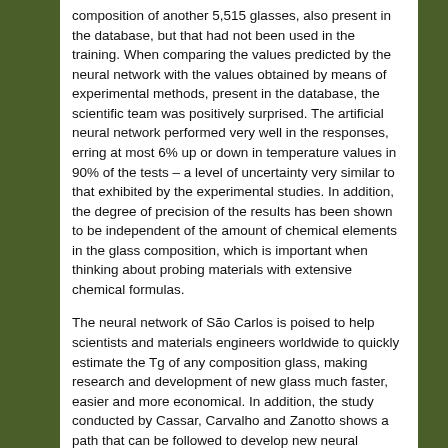composition of another 5,515 glasses, also present in the database, but that had not been used in the training. When comparing the values predicted by the neural network with the values obtained by means of experimental methods, present in the database, the scientific team was positively surprised. The artificial neural network performed very well in the responses, erring at most 6% up or down in temperature values in 90% of the tests – a level of uncertainty very similar to that exhibited by the experimental studies. In addition, the degree of precision of the results has been shown to be independent of the amount of chemical elements in the glass composition, which is important when thinking about probing materials with extensive chemical formulas.
The neural network of São Carlos is poised to help scientists and materials engineers worldwide to quickly estimate the Tg of any composition glass, making research and development of new glass much faster, easier and more economical. In addition, the study conducted by Cassar, Carvalho and Zanotto shows a path that can be followed to develop new neural networks applied to Materials Science and Engineering. "This result opens a wide path for similar